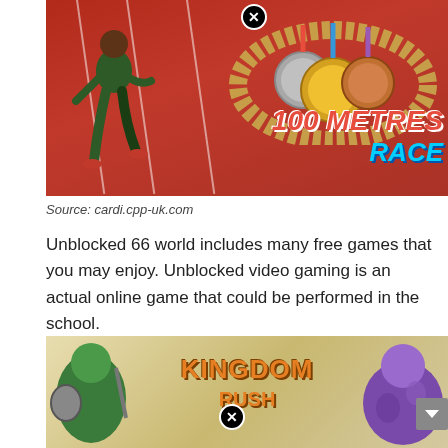[Figure (screenshot): Screenshot of a '100 Metres Race' video game showing a sprinter on a red track with gold, silver, and bronze medals graphic and the text '100 METRES RACE']
Source: cardi.cpp-uk.com
Unblocked 66 world includes many free games that you may enjoy. Unblocked video gaming is an actual online game that could be performed in the school.
[Figure (screenshot): Screenshot of 'Kingdom Rush' game showing fantasy characters and the Kingdom Rush logo]